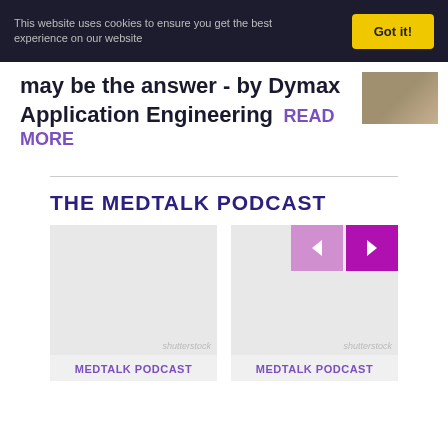This website uses cookies to ensure you get the best experience on our website
Got it!
may be the answer - by Dymax Application Engineering READ MORE
THE MEDTALK PODCAST
[Figure (screenshot): Two podcast card thumbnails with gray placeholder images labeled shutterstock, with navigation arrows (left/right) in pink/purple]
MEDTALK PODCAST
MEDTALK PODCAST